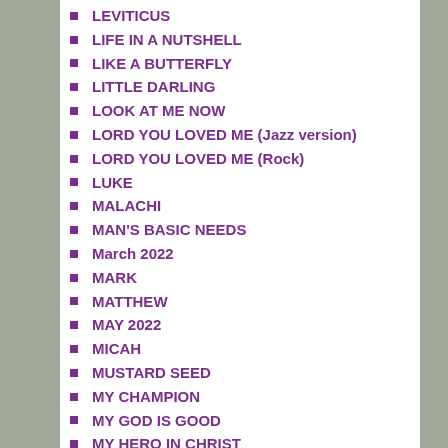LEVITICUS
LIFE IN A NUTSHELL
LIKE A BUTTERFLY
LITTLE DARLING
LOOK AT ME NOW
LORD YOU LOVED ME (Jazz version)
LORD YOU LOVED ME (Rock)
LUKE
MALACHI
MAN'S BASIC NEEDS
March 2022
MARK
MATTHEW
MAY 2022
MICAH
MUSTARD SEED
MY CHAMPION
MY GOD IS GOOD
MY HERO IN CHRIST
MY SHEPHERD
NAHUM